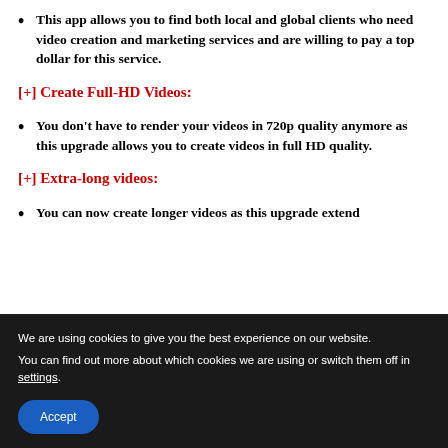This app allows you to find both local and global clients who need video creation and marketing services and are willing to pay a top dollar for this service.
[+] Create Full-HD Videos:
You don't have to render your videos in 720p quality anymore as this upgrade allows you to create videos in full HD quality.
[+] Extra-long videos:
You can now create longer videos as this upgrade extend
We are using cookies to give you the best experience on our website.
You can find out more about which cookies we are using or switch them off in settings.
Accept